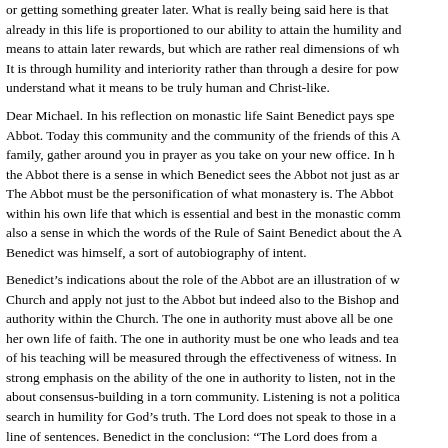or getting something greater later.  What is really being said here is that already in this life is proportioned to our ability to attain the humility and means to attain later rewards, but which are rather real dimensions of wh It is through humility and interiority rather than through a desire for pow understand what it means to be truly human and Christ-like.
Dear Michael.  In his reflection on monastic life Saint Benedict pays spe Abbot.  Today this community and the community of the friends of this A family, gather around you in prayer as you take on your new office.  In h the Abbot there is a sense in which Benedict sees the Abbot not just as ar The Abbot must be the personification of what monastery is.  The Abbot within his own life that which is essential and best in the monastic comm also a sense in which the words of the Rule of Saint Benedict about the A Benedict was himself, a sort of autobiography of intent.
Benedict's indications about the role of the Abbot are an illustration of w Church and apply not just to the Abbot but indeed also to the Bishop and authority within the Church.  The one in authority must above all be one her own life of faith.  The one in authority must be one who leads and tea of his teaching will be measured through the effectiveness of witness.  In strong emphasis on the ability of the one in authority to listen, not in the about consensus-building in a torn community.  Listening is not a politica search in humility for God's truth.   The Lord does not speak to those in a line of sentences. Benedict in the conclusion: "The Lord does from a